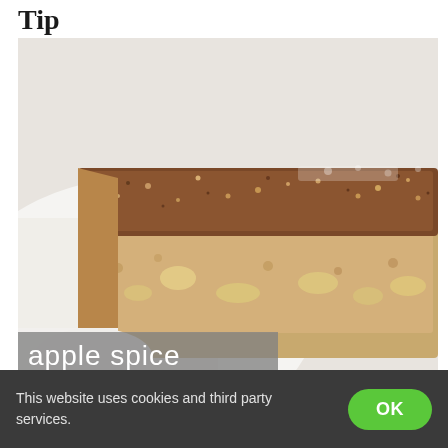Tip
[Figure (photo): A close-up photo of a slice of apple spice cake on a white plate, showing a moist crumb interior with small apple chunks and a cinnamon sugar dusted brown top crust.]
apple spice
This website uses cookies and third party services.